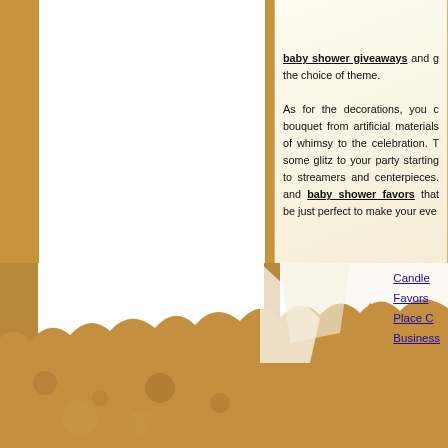[Figure (photo): Partial photo visible at top right corner, cropped baby shower related image]
baby shower giveaways and g... the choice of theme.

As for the decorations, you c... bouquet from artificial materials... of whimsy to the celebration. T... some glitz to your party starting... to streamers and centerpieces.... and baby shower favors that... be just perfect to make your eve...
Candle...
Favors...
Place C...
Business...